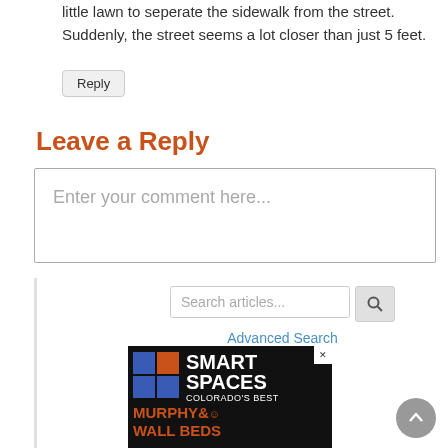little lawn to seperate the sidewalk from the street. Suddenly, the street seems a lot closer than just 5 feet.
Reply
Leave a Reply
Enter your comment here...
Search articles...
Advanced Search
[Figure (screenshot): Advertisement for Smart Spaces Colorado's Best Murphy & Wall Beds with a grid logo of blue and orange squares on a black background]